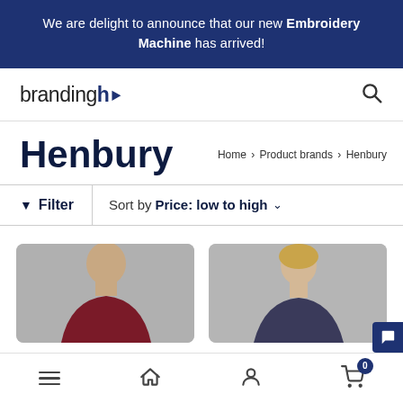We are delight to announce that our new Embroidery Machine has arrived!
[Figure (logo): BrandingHub logo with stylized 'hb' in dark navy and search icon]
Henbury
Home > Product brands > Henbury
Filter  |  Sort by Price: low to high
[Figure (photo): Male model wearing dark red/maroon polo shirt against grey background]
[Figure (photo): Female model wearing dark polo shirt against grey background]
Navigation bar with menu, home, user, and cart (0) icons